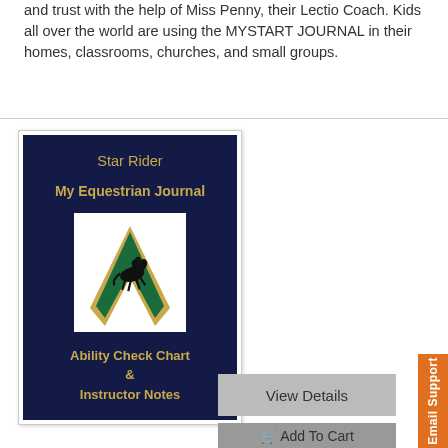and trust with the help of Miss Penny, their Lectio Coach. Kids all over the world are using the MYSTART JOURNAL in their homes, classrooms, churches, and small groups.
[Figure (illustration): Book cover for 'Star Rider My Equestrian Journal' — dark navy blue cover with gold text showing title 'Star Rider', subtitle 'My Equestrian Journal', a white bordered image of a green V logo with a jumping horse and rider silhouette, and bottom text 'Ability Check Chart & Instructor Notes' in gold.]
View Details
Add To Cart